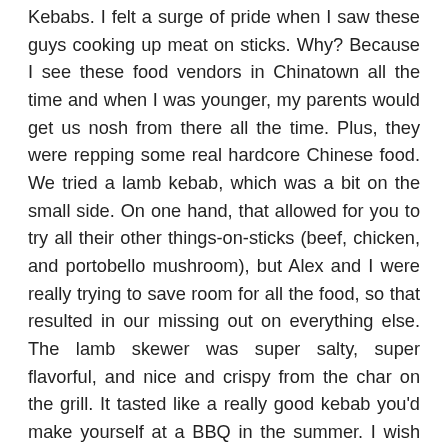Kebabs.  I felt a surge of pride when I saw these guys cooking up meat on sticks.  Why? Because I see these food vendors in Chinatown all the time and when I was younger, my parents would get us nosh from there all the time.  Plus, they were repping some real hardcore Chinese food.  We tried a lamb kebab, which was a bit on the small side.  On one hand, that allowed for you to try all their other things-on-sticks (beef, chicken, and portobello mushroom), but Alex and I were really trying to save room for all the food, so that resulted in our missing out on everything else.  The lamb skewer was super salty, super flavorful, and nice and crispy from the char on the grill.  It tasted like a really good kebab you'd make yourself at a BBQ in the summer.  I wish we'd eaten more!  While we were there, a TV crew was interviewing the woman in charge of the whole operation and she looked so proud of her achievement, and that in turn made me very proud to be Chinese.